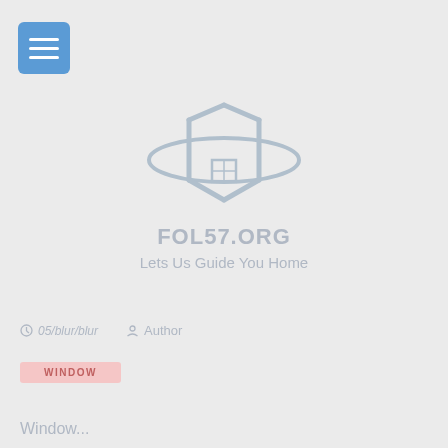[Figure (logo): Blue square menu/hamburger button icon in top-left corner]
[Figure (logo): FOL57.ORG website logo — stylized Z/house icon with arc swoosh, colored in muted blue-grey tones]
FOL57.ORG
Lets Us Guide You Home
Author
WINDOW
Window...